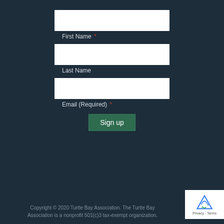[Figure (screenshot): White input box for First Name field]
First Name *
[Figure (screenshot): White input box for Last Name field]
Last Name
[Figure (screenshot): White input box for Email (Required) field]
Email (Required) *
Sign up
Copyright © 2020 Turtle Bay Association. The Turtle Bay Association is a nonprofit 501(c)3 tax-exempt organization.